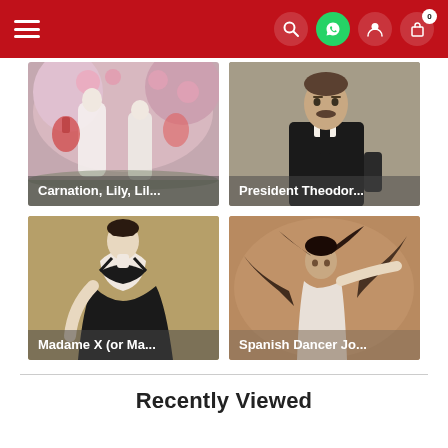Navigation header with hamburger menu, search, WhatsApp, user, and cart icons
[Figure (photo): Painting thumbnail: Carnation, Lily, Lil... - girls with lanterns in garden]
[Figure (photo): Painting thumbnail: President Theodor... - portrait of a man in black suit]
[Figure (photo): Painting thumbnail: Madame X (or Ma... - woman in black dress]
[Figure (photo): Painting thumbnail: Spanish Dancer Jo... - dancer with flowing hair]
Recently Viewed